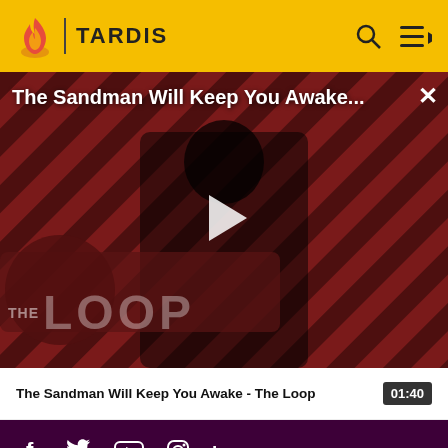TARDIS
[Figure (screenshot): Video thumbnail for 'The Sandman Will Keep You Awake - The Loop' showing a dark figure in black robes against a diagonal red and black striped background with 'THE LOOP' text overlay. A play button is centered on the image.]
The Sandman Will Keep You Awake - The Loop  01:40
[Figure (infographic): Social media icons bar: Facebook, Twitter, YouTube, Instagram, LinkedIn on dark purple background]
OVERVIEW